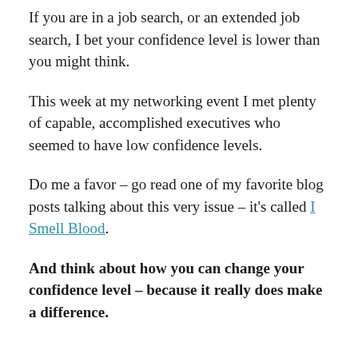If you are in a job search, or an extended job search, I bet your confidence level is lower than you might think.
This week at my networking event I met plenty of capable, accomplished executives who seemed to have low confidence levels.
Do me a favor – go read one of my favorite blog posts talking about this very issue – it's called I Smell Blood.
And think about how you can change your confidence level – because it really does make a difference.